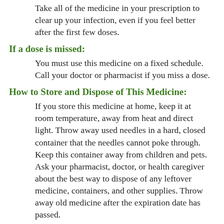Take all of the medicine in your prescription to clear up your infection, even if you feel better after the first few doses.
If a dose is missed:
You must use this medicine on a fixed schedule. Call your doctor or pharmacist if you miss a dose.
How to Store and Dispose of This Medicine:
If you store this medicine at home, keep it at room temperature, away from heat and direct light. Throw away used needles in a hard, closed container that the needles cannot poke through. Keep this container away from children and pets. Ask your pharmacist, doctor, or health caregiver about the best way to dispose of any leftover medicine, containers, and other supplies. Throw away old medicine after the expiration date has passed.
Keep all medicine out of the reach of children. Never share your medicine with anyone.
Drugs and Foods to Avoid: